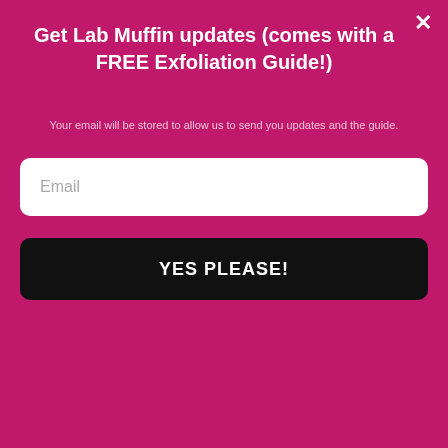Get Lab Muffin updates (comes with a FREE Exfoliation Guide!)
Your email will be stored to allow us to send you updates and the guide.
Email
YES PLEASE!
lawsuit in regards to the personal injuries that many of them have received using our nail polish that was produced in that base. We have lost confidence in any polish that was produced in their base, starting from early April 2014 to the end of June 2015. The label will have citric acid as the final ingredient, or a gloss label, or a 5 free label, or all screen printed bottles. If we
[Figure (screenshot): Ad banner with yellow background showing 'It's okay to question. Now get the facts on COVID-19 vaccines GetVaccineAnswers.org' with a stamp graphic and close button.]